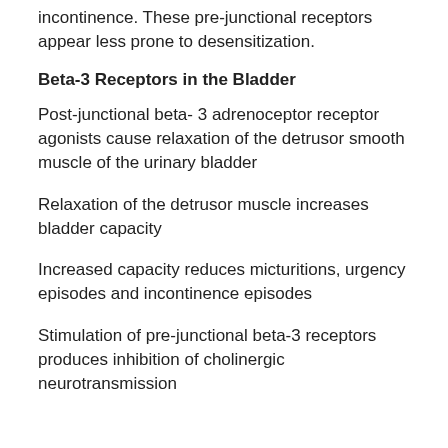incontinence. These pre-junctional receptors appear less prone to desensitization.
Beta-3 Receptors in the Bladder
Post-junctional beta- 3 adrenoceptor receptor agonists cause relaxation of the detrusor smooth muscle of the urinary bladder
Relaxation of the detrusor muscle increases bladder capacity
Increased capacity reduces micturitions, urgency episodes and incontinence episodes
Stimulation of pre-junctional beta-3 receptors produces inhibition of cholinergic neurotransmission